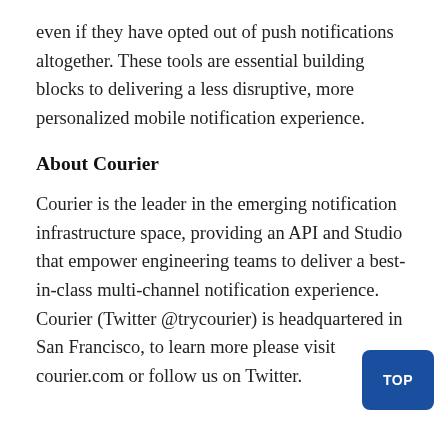even if they have opted out of push notifications altogether. These tools are essential building blocks to delivering a less disruptive, more personalized mobile notification experience.
About Courier
Courier is the leader in the emerging notification infrastructure space, providing an API and Studio that empower engineering teams to deliver a best-in-class multi-channel notification experience. Courier (Twitter @trycourier) is headquartered in San Francisco, to learn more please visit courier.com or follow us on Twitter.